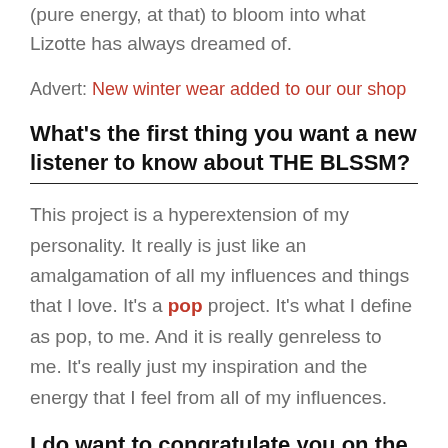(pure energy, at that) to bloom into what Lizotte has always dreamed of.
Advert: New winter wear added to our our shop
What's the first thing you want a new listener to know about THE BLSSM?
This project is a hyperextension of my personality. It really is just like an amalgamation of all my influences and things that I love. It's a pop project. It's what I define as pop, to me. And it is really genreless to me. It's really just my inspiration and the energy that I feel from all of my influences.
I do want to congratulate you on the Fueled By Ramen signing before we get to anything